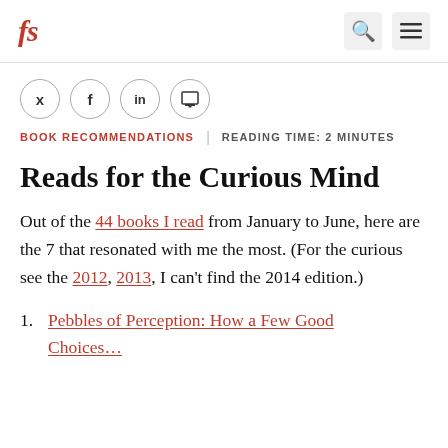fs | [search icon] [menu icon]
[Figure (other): Social sharing icons: Twitter (y), Facebook (f), LinkedIn (in), Print]
BOOK RECOMMENDATIONS | READING TIME: 2 MINUTES
Reads for the Curious Mind
Out of the 44 books I read from January to June, here are the 7 that resonated with me the most. (For the curious see the 2012, 2013, I can't find the 2014 edition.)
1. Pebbles of Perception: How a Few Good Choices…